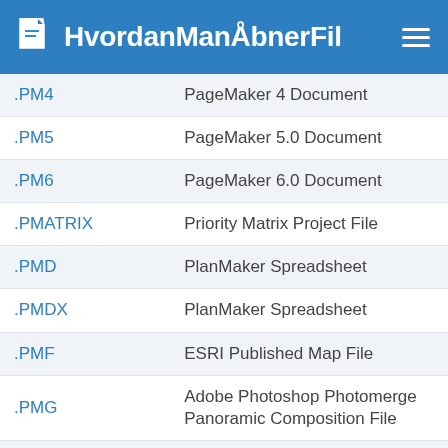HvordanManÅbnerFil
| Extension | Description |
| --- | --- |
| .PM4 | PageMaker 4 Document |
| .PM5 | PageMaker 5.0 Document |
| .PM6 | PageMaker 6.0 Document |
| .PMATRIX | Priority Matrix Project File |
| .PMD | PlanMaker Spreadsheet |
| .PMDX | PlanMaker Spreadsheet |
| .PMF | ESRI Published Map File |
| .PMG | Adobe Photoshop Photomerge Panoramic Composition File |
| .PMJ | Pegasus Mail Configuration File |
| .PML | Palm Markup Language File |
| .PMQ | Microsoft Target Analyzer File |
| .PMR | Avid Persisent Media Record File |